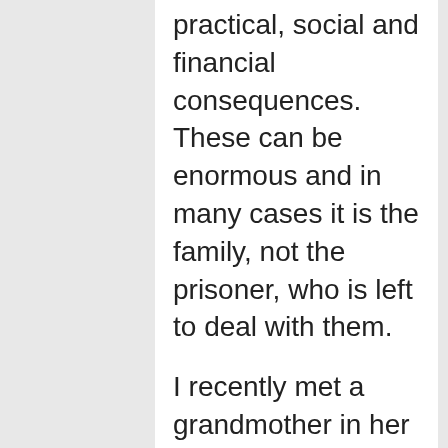practical, social and financial consequences. These can be enormous and in many cases it is the family, not the prisoner, who is left to deal with them.
I recently met a grandmother in her 60s who had taken on sole custody of her four youngest grandchildren after both parents were sentenced to prison. This grandma loves her grandkids and has taken extreme measures to give them a fighting chance in life but you can hear it in her voice – she mourns her grandchildren's loss of their childhood and